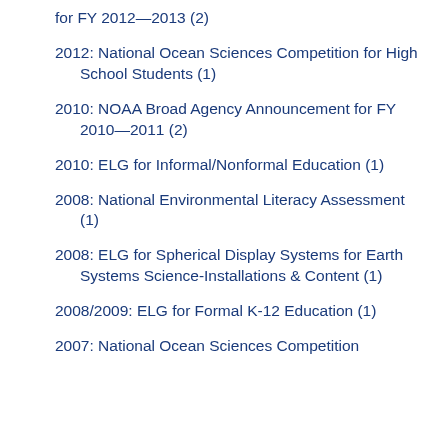for FY 2012—2013 (2)
2012: National Ocean Sciences Competition for High School Students (1)
2010: NOAA Broad Agency Announcement for FY 2010—2011 (2)
2010: ELG for Informal/Nonformal Education (1)
2008: National Environmental Literacy Assessment (1)
2008: ELG for Spherical Display Systems for Earth Systems Science-Installations & Content (1)
2008/2009: ELG for Formal K-12 Education (1)
2007: National Ocean Sciences Competition